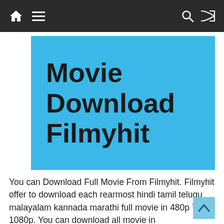Navigation bar with home, menu, search, and shuffle icons
[Figure (other): Blue banner with large bold text reading 'Movie Download Filmyhit']
You can Download Full Movie From Filmyhit. Filmyhit offer to download each rearmost hindi tamil telugu malayalam kannada marathi full movie in 480p 720p 1080p. You can download all movie in hindidubbed.Filmyhit is a public alluvion website which leaks appropriated pictures online. The